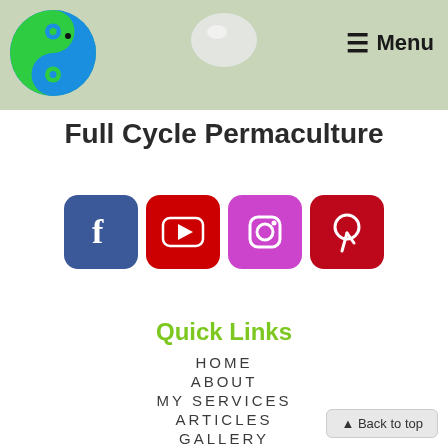Full Cycle Permaculture — Menu
Full Cycle Permaculture
[Figure (logo): Four social media icons: Facebook (blue), YouTube (red), Instagram (purple), Pinterest (red)]
Quick Links
HOME
ABOUT
MY SERVICES
ARTICLES
GALLERY
CONTACT
▲ Back to top